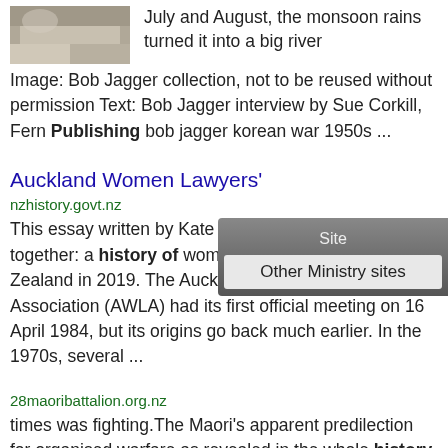[Figure (photo): A small black and white photo, partially visible at the top left.]
July and August, the monsoon rains turned it into a big river
Image: Bob Jagger collection, not to be reused without permission Text: Bob Jagger interview by Sue Corkill, Fern Publishing bob jagger korean war 1950s ...
Auckland Women Lawyers'
nzhistory.govt.nz
This essay written by Kate Jordan... online in Women together: a history of women's organisations in New Zealand in 2019. The Auckland Women Lawyers' Association (AWLA) had its first official meeting on 16 April 1984, but its origins go back much earlier. In the 1970s, several ...
28maoribattalion.org.nz
times was fighting.The Maori's apparent predilection for organised warfare as revealed in the whole history of the Maori Battalion during World War II